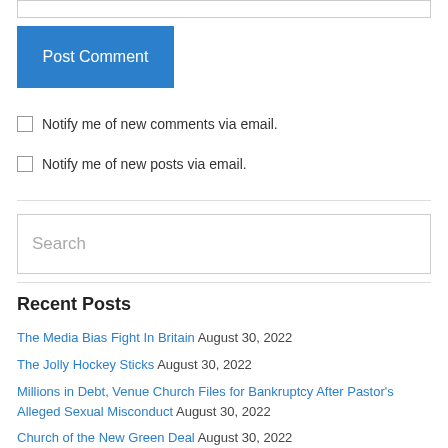Post Comment
Notify me of new comments via email.
Notify me of new posts via email.
Search
Recent Posts
The Media Bias Fight In Britain August 30, 2022
The Jolly Hockey Sticks August 30, 2022
Millions in Debt, Venue Church Files for Bankruptcy After Pastor's Alleged Sexual Misconduct August 30, 2022
Church of the New Green Deal August 30, 2022